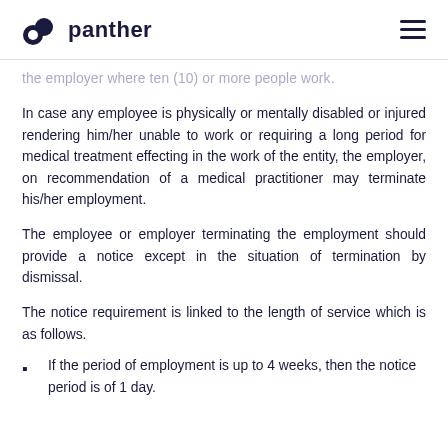panther
the employer where ten (10) or more people work.
In case any employee is physically or mentally disabled or injured rendering him/her unable to work or requiring a long period for medical treatment effecting in the work of the entity, the employer, on recommendation of a medical practitioner may terminate his/her employment.
The employee or employer terminating the employment should provide a notice except in the situation of termination by dismissal.
The notice requirement is linked to the length of service which is as follows.
If the period of employment is up to 4 weeks, then the notice period is of 1 day.